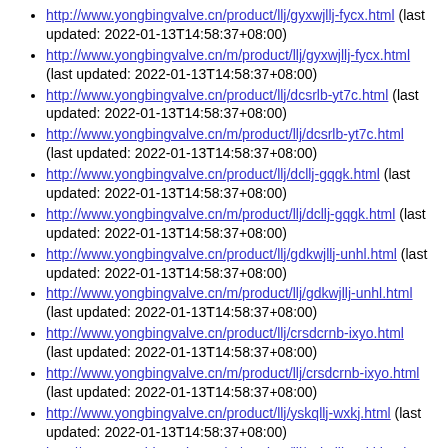http://www.yongbingvalve.cn/product/llj/gyxwjllj-fycx.html (last updated: 2022-01-13T14:58:37+08:00)
http://www.yongbingvalve.cn/m/product/llj/gyxwjllj-fycx.html (last updated: 2022-01-13T14:58:37+08:00)
http://www.yongbingvalve.cn/product/llj/dcsrlb-yt7c.html (last updated: 2022-01-13T14:58:37+08:00)
http://www.yongbingvalve.cn/m/product/llj/dcsrlb-yt7c.html (last updated: 2022-01-13T14:58:37+08:00)
http://www.yongbingvalve.cn/product/llj/dcllj-gqgk.html (last updated: 2022-01-13T14:58:37+08:00)
http://www.yongbingvalve.cn/m/product/llj/dcllj-gqgk.html (last updated: 2022-01-13T14:58:37+08:00)
http://www.yongbingvalve.cn/product/llj/gdkwjllj-unhl.html (last updated: 2022-01-13T14:58:37+08:00)
http://www.yongbingvalve.cn/m/product/llj/gdkwjllj-unhl.html (last updated: 2022-01-13T14:58:37+08:00)
http://www.yongbingvalve.cn/product/llj/crsdcrnb-ixyo.html (last updated: 2022-01-13T14:58:37+08:00)
http://www.yongbingvalve.cn/m/product/llj/crsdcrnb-ixyo.html (last updated: 2022-01-13T14:58:37+08:00)
http://www.yongbingvalve.cn/product/llj/yskqllj-wxkj.html (last updated: 2022-01-13T14:58:37+08:00)
http://www.yongbingvalve.cn/m/product/llj/yskqllj-wxkj.html (last updated: 2022-01-13T14:58:37+08:00)
http://www.yongbingvalve.cn/product/llj/ffxdcllj-raik.html